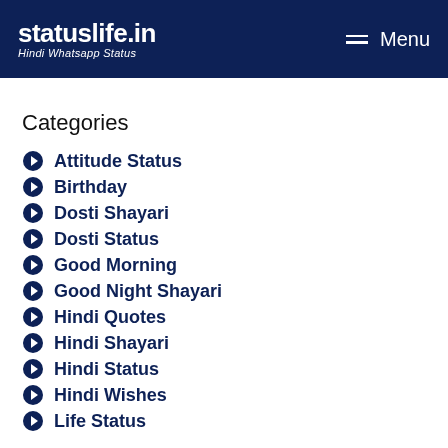statuslife.in — Hindi Whatsapp Status | Menu
Categories
Attitude Status
Birthday
Dosti Shayari
Dosti Status
Good Morning
Good Night Shayari
Hindi Quotes
Hindi Shayari
Hindi Status
Hindi Wishes
Life Status